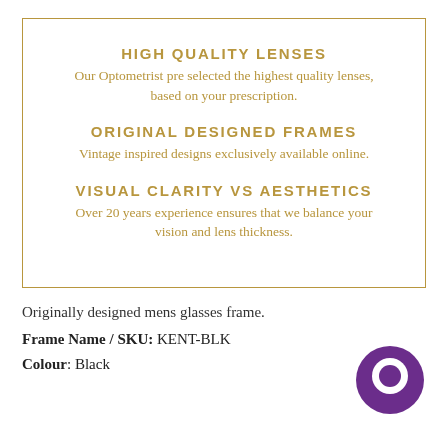HIGH QUALITY LENSES
Our Optometrist pre selected the highest quality lenses, based on your prescription.
ORIGINAL DESIGNED FRAMES
Vintage inspired designs exclusively available online.
VISUAL CLARITY VS AESTHETICS
Over 20 years experience ensures that we balance your vision and lens thickness.
Originally designed mens glasses frame.
Frame Name / SKU: KENT-BLK
Colour: Black